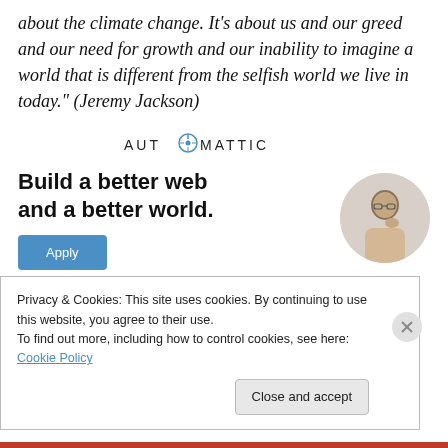about the climate change. It's about us and our greed and our need for growth and our inability to imagine a world that is different from the selfish world we live in today." (Jeremy Jackson)
[Figure (logo): Automattic logo with stylized compass-like 'O']
[Figure (infographic): Automattic ad: 'Build a better web and a better world.' with Apply button and photo of a man thinking]
Privacy & Cookies: This site uses cookies. By continuing to use this website, you agree to their use.
To find out more, including how to control cookies, see here: Cookie Policy
Close and accept